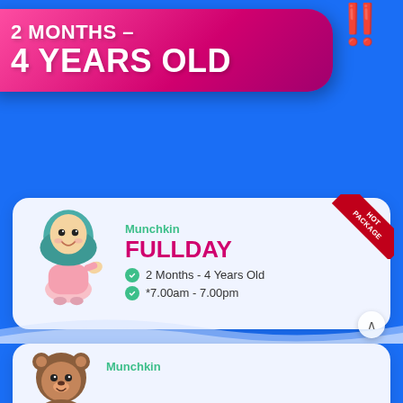2 MONTHS – 4 YEARS OLD
[Figure (illustration): Cartoon mascot of a girl in hijab wearing pink dress, waving]
Munchkin
FULLDAY
2 Months - 4 Years Old
*7.00am - 7.00pm
[Figure (illustration): Cartoon mascot of a bear character, partially visible at bottom]
Munchkin